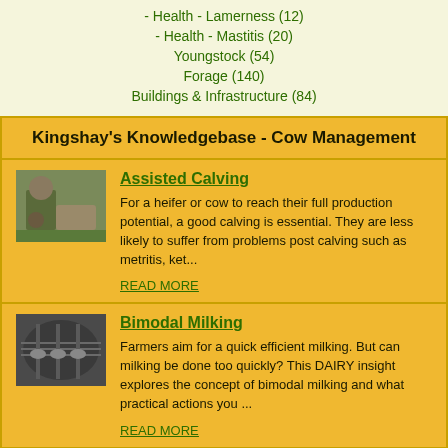- Health - Lamerness (12)
- Health - Mastitis (20)
Youngstock (54)
Forage (140)
Buildings & Infrastructure (84)
Kingshay's Knowledgebase - Cow Management
[Figure (photo): Person assisting with calving of a cow outdoors]
Assisted Calving
For a heifer or cow to reach their full production potential, a good calving is essential. They are less likely to suffer from problems post calving such as metritis, ket...
READ MORE
[Figure (photo): Cows in milking parlour, aerial/overhead view]
Bimodal Milking
Farmers aim for a quick efficient milking. But can milking be done too quickly? This DAIRY insight explores the concept of bimodal milking and what practical actions you ...
READ MORE